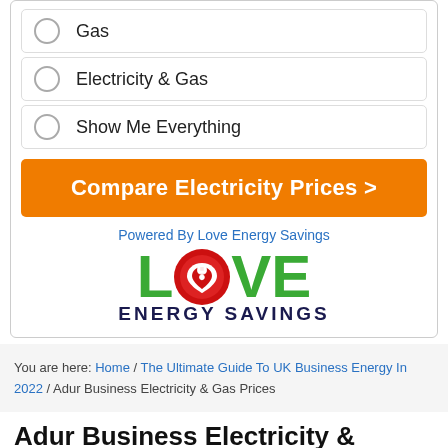Gas
Electricity & Gas
Show Me Everything
Compare Electricity Prices >
Powered By Love Energy Savings
[Figure (logo): Love Energy Savings logo with green LOVE text, red power button O, and dark blue ENERGY SAVINGS text below]
You are here: Home / The Ultimate Guide To UK Business Energy In 2022 / Adur Business Electricity & Gas Prices
Adur Business Electricity &